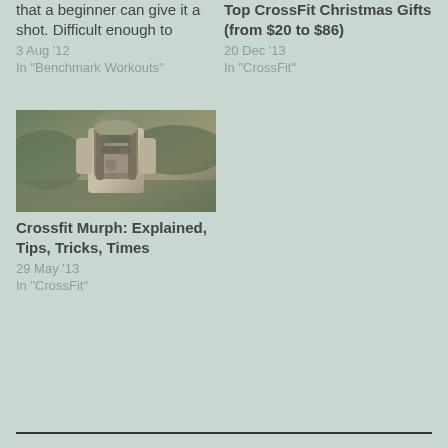that a beginner can give it a shot. Difficult enough to
3 Aug '12
In "Benchmark Workouts"
Top CrossFit Christmas Gifts (from $20 to $86)
20 Dec '13
In "CrossFit"
[Figure (photo): A soldier wearing military gear and backpack, viewed from behind/side]
Crossfit Murph: Explained, Tips, Tricks, Times
29 May '13
In "CrossFit"